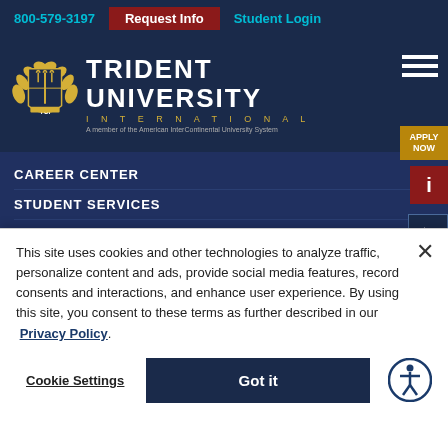800-579-3197 | Request Info | Student Login
[Figure (logo): Trident University International logo with shield emblem, TUI crest, and text 'A member of the American InterContinental University System']
CAREER CENTER
STUDENT SERVICES
INSTITUTIONAL REVIEW BOARD (IRB)
STUDENT CONSUMER INFORMATION
OFFICE OF THE REGISTRAR
This site uses cookies and other technologies to analyze traffic, personalize content and ads, provide social media features, record consents and interactions, and enhance user experience. By using this site, you consent to these terms as further described in our Privacy Policy.
Cookie Settings | Got it